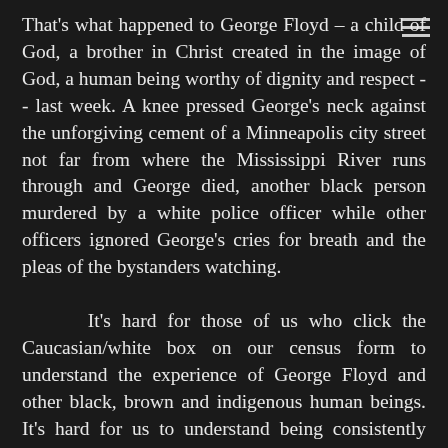That's what happened to George Floyd – a child of God, a brother in Christ created in the image of God, a human being worthy of dignity and respect -- last week. A knee pressed George's neck against the unforgiving cement of a Minneapolis city street not far from where the Mississippi River runs through and George died, another black person murdered by a white police officer while other officers ignored George's cries for breath and the pleas of the bystanders watching.
It's hard for those of us who click the Caucasian/white box on our census form to understand the experience of George Floyd and other black, brown and indigenous human beings. It's hard for us to understand being consistently singled out,